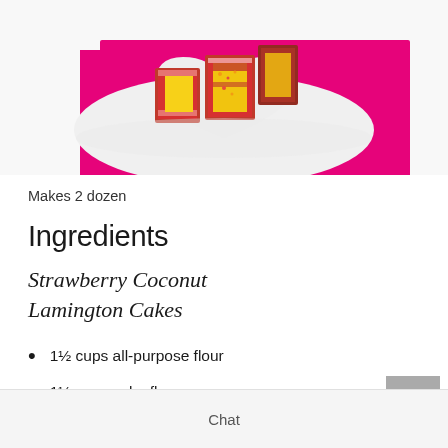[Figure (photo): Strawberry coconut lamington cakes on a heart-shaped white plate on a bright pink/magenta background. The cakes are rectangular, coated in red/pink and white coconut, with yellow sponge visible.]
Makes 2 dozen
Ingredients
Strawberry Coconut Lamington Cakes
1½ cups all-purpose flour
1½ cups cake flour
½ tsp baking soda
2 tsp baking powder (partially visible)
Chat